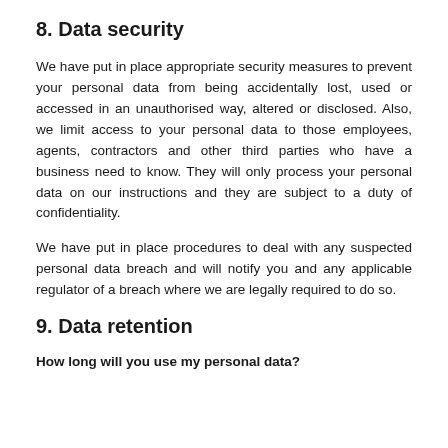8. Data security
We have put in place appropriate security measures to prevent your personal data from being accidentally lost, used or accessed in an unauthorised way, altered or disclosed. Also, we limit access to your personal data to those employees, agents, contractors and other third parties who have a business need to know. They will only process your personal data on our instructions and they are subject to a duty of confidentiality.
We have put in place procedures to deal with any suspected personal data breach and will notify you and any applicable regulator of a breach where we are legally required to do so.
9. Data retention
How long will you use my personal data?